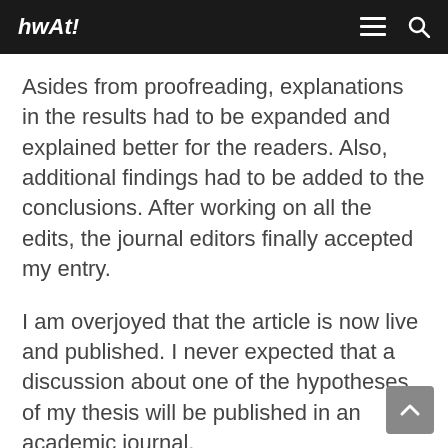hwAt! [logo] ≡ 🔍
rigorous edits from the editors.
Asides from proofreading, explanations in the results had to be expanded and explained better for the readers. Also, additional findings had to be added to the conclusions. After working on all the edits, the journal editors finally accepted my entry.
I am overjoyed that the article is now live and published. I never expected that a discussion about one of the hypotheses of my thesis will be published in an academic journal.
This achievement would have not been possible without the guidance of my thesis advisor and co-author Prof. Chung-Ho Su, UP Cebu Professors, and my participants.